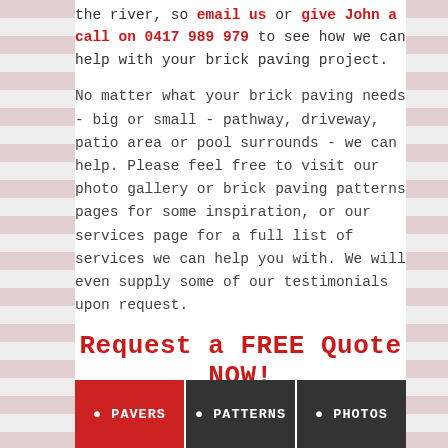the river, so email us or give John a call on 0417 989 979 to see how we can help with your brick paving project.
No matter what your brick paving needs - big or small - pathway, driveway, patio area or pool surrounds - we can help. Please feel free to visit our photo gallery or brick paving patterns pages for some inspiration, or our services page for a full list of services we can help you with. We will even supply some of our testimonials upon request.
Request a FREE Quote NOW!
PAVERS
PATTERNS
PHOTOS